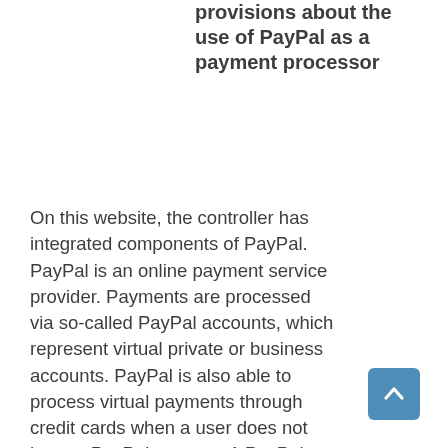provisions about the use of PayPal as a payment processor
On this website, the controller has integrated components of PayPal. PayPal is an online payment service provider. Payments are processed via so-called PayPal accounts, which represent virtual private or business accounts. PayPal is also able to process virtual payments through credit cards when a user does not have a PayPal account. A PayPal account is managed via an e-mail